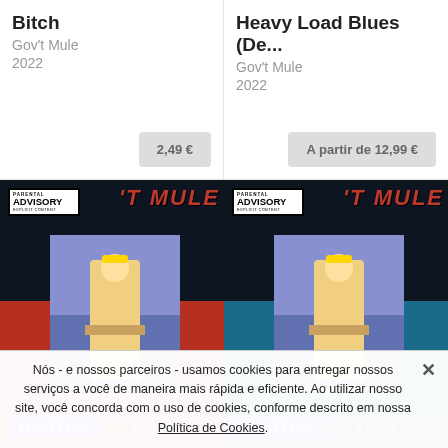Bitch
Gov't Mule
2022
2,49 €
Heavy Load Blues (De...
Gov't Mule
2022
A partir de 12,99 €
[Figure (photo): Gov't Mule Heavy Load Blues Deluxe Edition album cover with Parental Advisory label, red/black background, 16-BIT FLAC badge]
[Figure (photo): Gov't Mule Heavy Load Blues album cover with Parental Advisory label, teal/black background, 16-BIT FLAC badge]
Nós - e nossos parceiros - usamos cookies para entregar nossos serviços a você de maneira mais rápida e eficiente. Ao utilizar nosso site, você concorda com o uso de cookies, conforme descrito em nossa Política de Cookies.